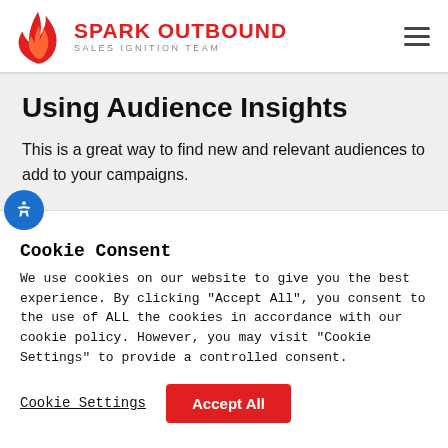SPARK OUTBOUND | SALES IGNITION TEAM
Using Audience Insights
This is a great way to find new and relevant audiences to add to your campaigns.
Cookie Consent
We use cookies on our website to give you the best experience. By clicking “Accept All”, you consent to the use of ALL the cookies in accordance with our cookie policy. However, you may visit “Cookie Settings” to provide a controlled consent.
Cookie Settings | Accept All